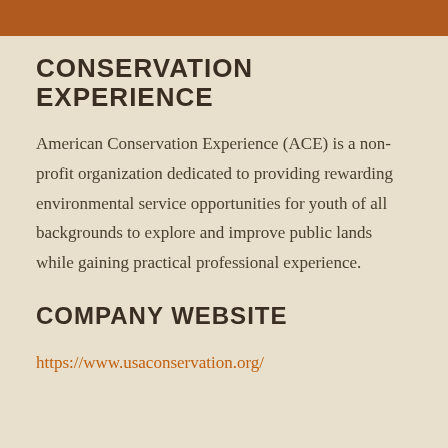CONSERVATION EXPERIENCE
American Conservation Experience (ACE) is a non-profit organization dedicated to providing rewarding environmental service opportunities for youth of all backgrounds to explore and improve public lands while gaining practical professional experience.
COMPANY WEBSITE
https://www.usaconservation.org/